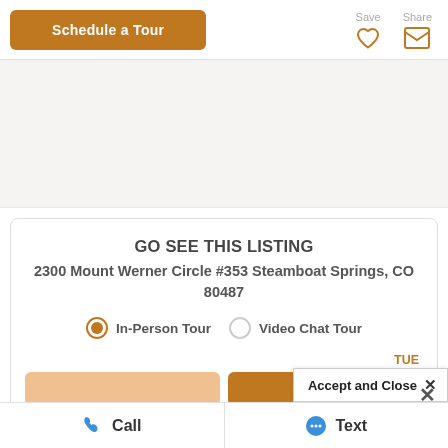Schedule a Tour
Save
Share
GO SEE THIS LISTING
2300 Mount Werner Circle #353 Steamboat Springs, CO 80487
In-Person Tour
Video Chat Tour
TUE
Accept and Close ×
Call
Text